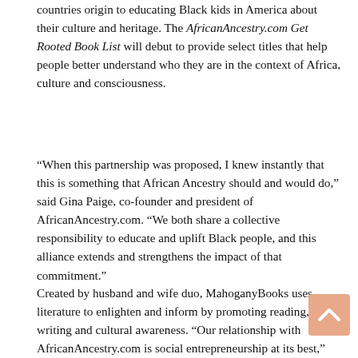countries origin to educating Black kids in America about their culture and heritage. The AfricanAncestry.com Get Rooted Book List will debut to provide select titles that help people better understand who they are in the context of Africa, culture and consciousness.
“When this partnership was proposed, I knew instantly that this is something that African Ancestry should and would do,” said Gina Paige, co-founder and president of AfricanAncestry.com. “We both share a collective responsibility to educate and uplift Black people, and this alliance extends and strengthens the impact of that commitment.”
Created by husband and wife duo, MahoganyBooks uses literature to enlighten and inform by promoting reading, writing and cultural awareness. “Our relationship with AfricanAncestry.com is social entrepreneurship at its best,” said Derrick A. Young, co-founder and president of MahoganyBooks. “We’re two small businesses that have joined forces to address issues around identity and cultural awareness for people of color and to improve our...